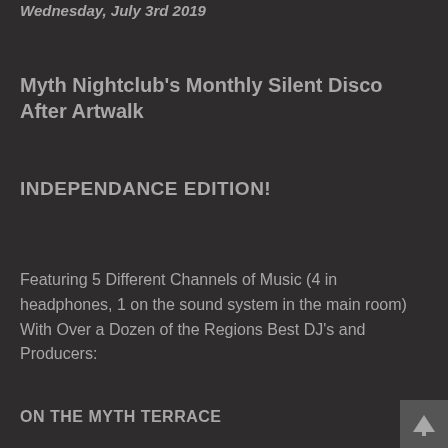Wednesday, July 3rd 2019
Myth Nightclub's Monthly Silent Disco After Artwalk
INDEPENDANCE EDITION!
Featuring 5 Different Channels of Music (4 in headphones, 1 on the sound system in the main room) With Over a Dozen of the Regions Best DJ's and Producers:
ON THE MYTH TERRACE